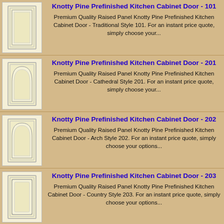[Figure (illustration): Cabinet door illustration - Traditional Style 101, raised panel rectangular]
Knotty Pine Prefinished Kitchen Cabinet Door - 101
Premium Quality Raised Panel Knotty Pine Prefinished Kitchen Cabinet Door - Traditional Style 101. For an instant price quote, simply choose your...
[Figure (illustration): Cabinet door illustration - Cathedral Style 201, raised panel with arched top]
Knotty Pine Prefinished Kitchen Cabinet Door - 201
Premium Quality Raised Panel Knotty Pine Prefinished Kitchen Cabinet Door - Cathedral Style 201. For an instant price quote, simply choose your...
[Figure (illustration): Cabinet door illustration - Arch Style 202, raised panel with arch]
Knotty Pine Prefinished Kitchen Cabinet Door - 202
Premium Quality Raised Panel Knotty Pine Prefinished Kitchen Cabinet Door - Arch Style 202. For an instant price quote, simply choose your options...
[Figure (illustration): Cabinet door illustration - Country Style 203, raised panel with curved sides]
Knotty Pine Prefinished Kitchen Cabinet Door - 203
Premium Quality Raised Panel Knotty Pine Prefinished Kitchen Cabinet Door - Country Style 203. For an instant price quote, simply choose your options...
[Figure (illustration): Cabinet door illustration - partial view of next style]
Knotty Pine Prefinished Kitchen Cabinet...